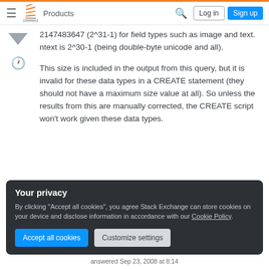Products  Log in  Sign up
2147483647 (2^31-1) for field types such as image and text. ntext is 2^30-1 (being double-byte unicode and all).
This size is included in the output from this query, but it is invalid for these data types in a CREATE statement (they should not have a maximum size value at all). So unless the results from this are manually corrected, the CREATE script won't work given these data types.
Your privacy
By clicking "Accept all cookies", you agree Stack Exchange can store cookies on your device and disclose information in accordance with our Cookie Policy.
Accept all cookies   Customize settings
answered Sep 23, 2008 at 8:14